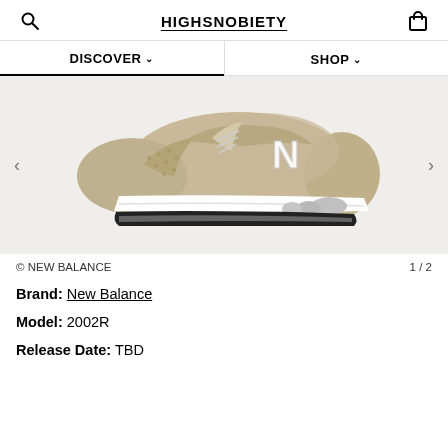HIGHSNOBIETY
DISCOVER  SHOP
[Figure (photo): Side view of a New Balance 2002R sneaker in tan/beige suede with white midsole and silver N logo on a light gray background]
© NEW BALANCE   1 / 2
Brand: New Balance
Model: 2002R
Release Date: TBD